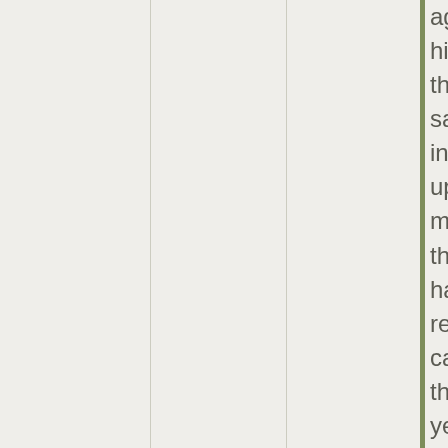against him...But those who saw the investigation up close, and many of those who have reviewed case files in the past year, say that far from gunning for Mr. Trump, the F.B.I. could